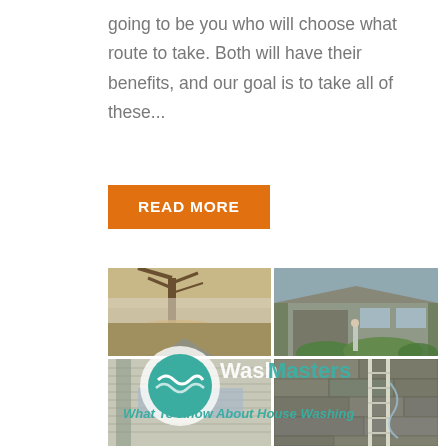going to be you who will choose what route to take. Both will have their benefits, and our goal is to take all of these...
READ MORE
[Figure (photo): Four-quadrant composite image showing house washing / exterior cleaning scenes. Top-left: yard with fallen leaves and fence. Top-right: clean house exterior with green landscaping and a person standing. Bottom-left: side of a house with siding. Bottom-right: stone/brick wall being pressure washed with ladder visible. Overlaid with Wash Masters logo (teal circle with wave mark), brand name 'Wash Masters' in white, and italic teal text 'What To Know About House Washing'.]